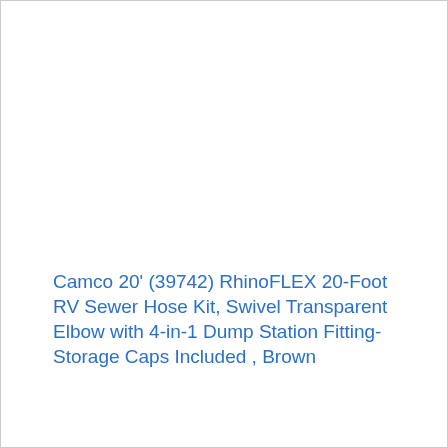Camco 20' (39742) RhinoFLEX 20-Foot RV Sewer Hose Kit, Swivel Transparent Elbow with 4-in-1 Dump Station Fitting-Storage Caps Included , Brown
View on Amazon